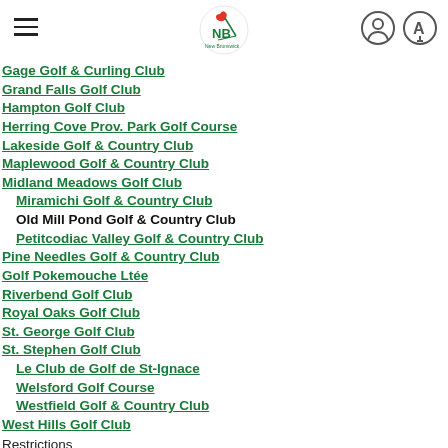Golf NB logo with hamburger menu and icons
Gage Golf & Curling Club
Grand Falls Golf Club
Hampton Golf Club
Herring Cove Prov. Park Golf Course
Lakeside Golf & Country Club
Maplewood Golf & Country Club
Midland Meadows Golf Club
Miramichi Golf & Country Club
Old Mill Pond Golf & Country Club
Petitcodiac Valley Golf & Country Club
Pine Needles Golf & Country Club
Golf Pokemouche Ltée
Riverbend Golf Club
Royal Oaks Golf Club
St. George Golf Club
St. Stephen Golf Club
Le Club de Golf de St-Ignace
Welsford Golf Course
Westfield Golf & Country Club
West Hills Golf Club
Restrictions